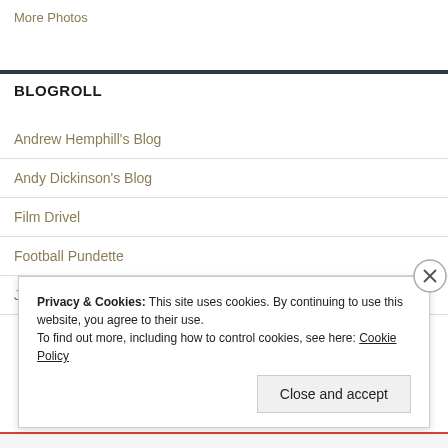More Photos
BLOGROLL
Andrew Hemphill's Blog
Andy Dickinson's Blog
Film Drivel
Football Pundette
Jayne's World
Privacy & Cookies: This site uses cookies. By continuing to use this website, you agree to their use. To find out more, including how to control cookies, see here: Cookie Policy